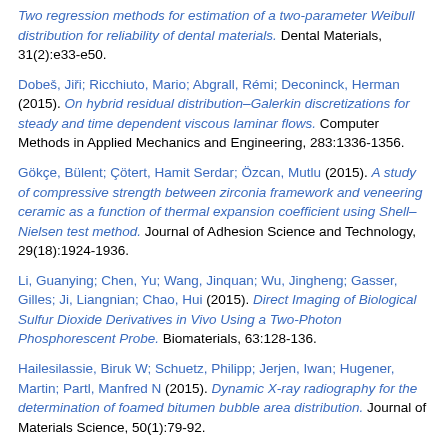Two regression methods for estimation of a two-parameter Weibull distribution for reliability of dental materials. Dental Materials, 31(2):e33-e50.
Dobeš, Jiři; Ricchiuto, Mario; Abgrall, Rémi; Deconinck, Herman (2015). On hybrid residual distribution–Galerkin discretizations for steady and time dependent viscous laminar flows. Computer Methods in Applied Mechanics and Engineering, 283:1336-1356.
Gökçe, Bülent; Çötert, Hamit Serdar; Özcan, Mutlu (2015). A study of compressive strength between zirconia framework and veneering ceramic as a function of thermal expansion coefficient using Shell–Nielsen test method. Journal of Adhesion Science and Technology, 29(18):1924-1936.
Li, Guanying; Chen, Yu; Wang, Jinquan; Wu, Jingheng; Gasser, Gilles; Ji, Liangnian; Chao, Hui (2015). Direct Imaging of Biological Sulfur Dioxide Derivatives in Vivo Using a Two-Photon Phosphorescent Probe. Biomaterials, 63:128-136.
Hailesilassie, Biruk W; Schuetz, Philipp; Jerjen, Iwan; Hugener, Martin; Partl, Manfred N (2015). Dynamic X-ray radiography for the determination of foamed bitumen bubble area distribution. Journal of Materials Science, 50(1):79-92.